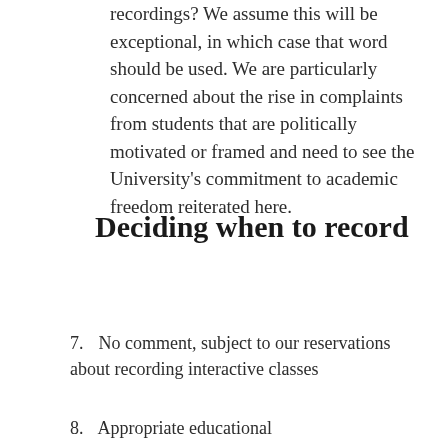recordings? We assume this will be exceptional, in which case that word should be used. We are particularly concerned about the rise in complaints from students that are politically motivated or framed and need to see the University's commitment to academic freedom reiterated here.
Deciding when to record
7. No comment, subject to our reservations about recording interactive classes
8. Appropriate educational